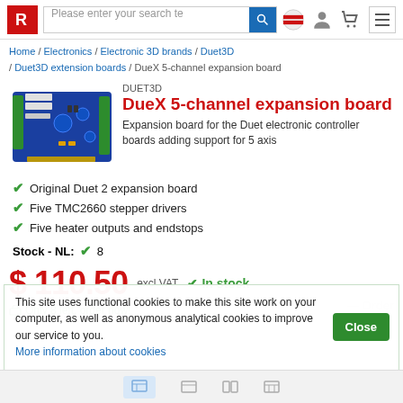Please enter your search te
Home / Electronics / Electronic 3D brands / Duet3D / Duet3D extension boards / DueX 5-channel expansion board
[Figure (photo): Photo of DueX 5-channel expansion board PCB, blue circuit board with connectors]
DUET3D
DueX 5-channel expansion board
Expansion board for the Duet electronic controller boards adding support for 5 axis
Original Duet 2 expansion board
Five TMC2660 stepper drivers
Five heater outputs and endstops
Stock - NL:  ✔ 8
$ 110.50 excl VAT  ✔ In stock
Only 8 left, order now!
This site uses functional cookies to make this site work on your computer, as well as anonymous analytical cookies to improve our service to you. More information about cookies